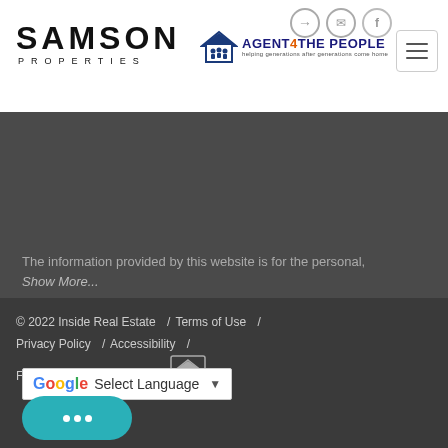[Figure (logo): Samson Properties logo with large bold SAMSON text and PROPERTIES in spaced small caps below]
[Figure (logo): Agent 4 The People logo with house icon and people silhouettes, blue and orange text]
The information provided by this website is for the personal,
Show More...
© 2022 Inside Real Estate / Terms of Use / Privacy Policy / Accessibility / Fair Housing Statement /
[Figure (other): Google Translate Select Language dropdown widget]
[Figure (other): Teal chat button with three dots indicating a chat widget]